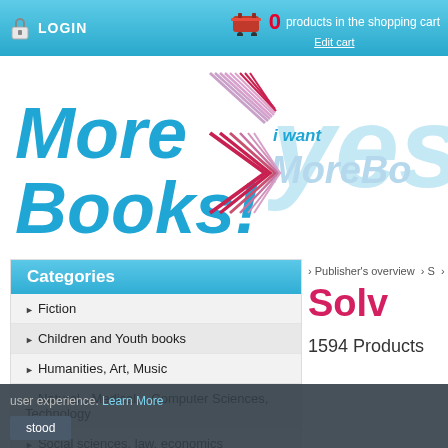LOGIN | 0 products in the shopping cart | Edit cart
[Figure (logo): MoreBooks! logo with stylized arrow/bookmark graphic in blue and pink/red]
[Figure (illustration): i want MoreBooks text in light blue on right side background]
Categories
Fiction
Children and Youth books
Humanities, Art, Music
Natural-, Medical- , Computer Sciences, Technology
Social sciences, law, economics
School and learning
Specialized book
Travel
Councellor
Publisher's overview > S > Solv
Solv
1594 Products
user experience. Learn More
stood